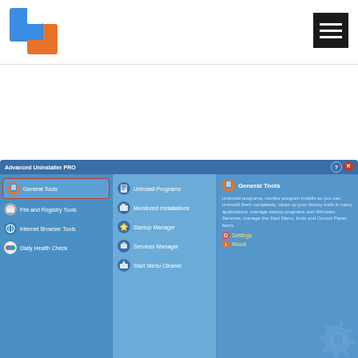[Figure (logo): Two overlapping squares logo — blue and orange]
[Figure (screenshot): Screenshot of Advanced Uninstaller PRO application window showing General Tools menu selected with sub-items: Uninstall Programs, Monitored Installations, Startup Manager, Services Manager, Start Menu Cleaner. Left panel shows General Tools (selected), File and Registry Tools, Internet Browser Tools, Daily Health Check. Right panel shows General Tools description and Settings/About links.]